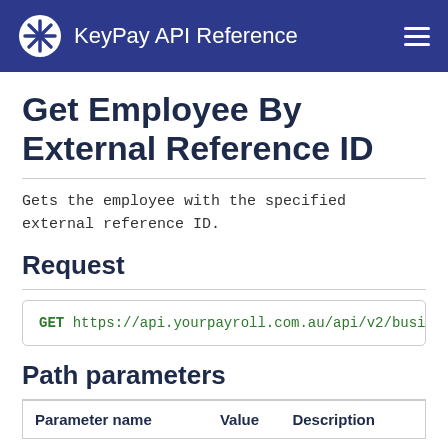KeyPay API Reference
Get Employee By External Reference ID
Gets the employee with the specified external reference ID.
Request
GET https://api.yourpayroll.com.au/api/v2/busin
Path parameters
| Parameter name | Value | Description |
| --- | --- | --- |